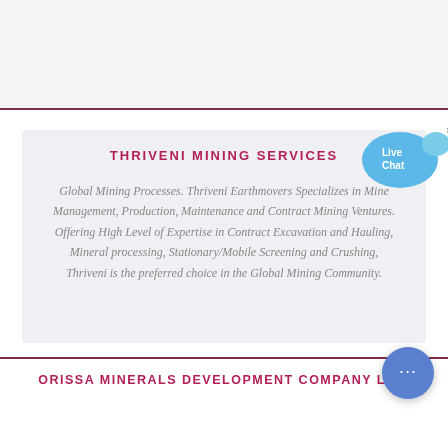THRIVENI MINING SERVICES
Global Mining Processes. Thriveni Earthmovers Specializes in Mine Management, Production, Maintenance and Contract Mining Ventures. Offering High Level of Expertise in Contract Excavation and Hauling, Mineral processing, Stationary/Mobile Screening and Crushing, Thriveni is the preferred choice in the Global Mining Community.
ORISSA MINERALS DEVELOPMENT COMPANY LTD.